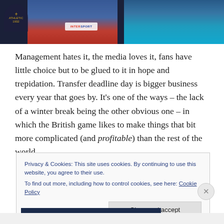[Figure (photo): Two football players photographed side by side. Left player wears a blue and white striped kit with Wigan Athletic branding and INTERSPORT sponsor. Right player wears a light blue goalkeeper kit. Dark club badge visible on left.]
Management hates it, the media loves it, fans have little choice but to be glued to it in hope and trepidation. Transfer deadline day is bigger business every year that goes by. It's one of the ways – the lack of a winter break being the other obvious one – in which the British game likes to make things that bit more complicated (and profitable) than the rest of the world.
Privacy & Cookies: This site uses cookies. By continuing to use this website, you agree to their use.
To find out more, including how to control cookies, see here: Cookie Policy
Close and accept